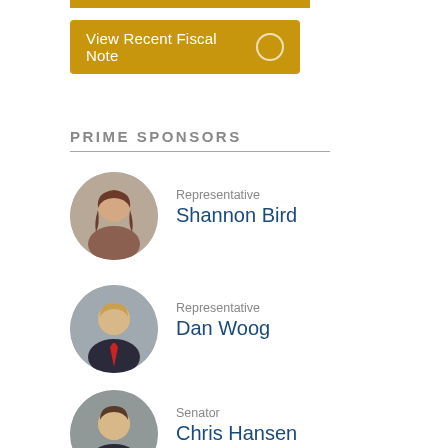[Figure (other): Gold decorative bar at top]
View Recent Fiscal Note
PRIME SPONSORS
[Figure (photo): Circular portrait photo of Representative Shannon Bird]
Representative Shannon Bird
[Figure (photo): Circular portrait photo of Representative Dan Woog]
Representative Dan Woog
[Figure (photo): Circular portrait photo of Senator Chris Hansen]
Senator Chris Hansen